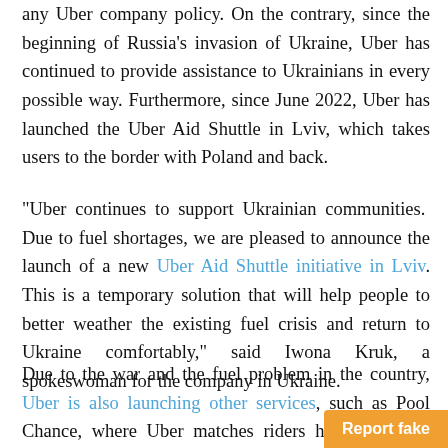any Uber company policy. On the contrary, since the beginning of Russia's invasion of Ukraine, Uber has continued to provide assistance to Ukrainians in every possible way. Furthermore, since June 2022, Uber has launched the Uber Aid Shuttle in Lviv, which takes users to the border with Poland and back.
“Uber continues to support Ukrainian communities.  Due to fuel shortages, we are pleased to announce the launch of a new Uber Aid Shuttle initiative in Lviv. This is a temporary solution that will help people to better weather the existing fuel crisis and return to Ukraine comfortably,” said Iwona Kruk, a spokeswoman for the company in Ukraine.
Due to the war and the fuel problem in the country, Uber is also launching other services, such as Pool Chance, where Uber matches riders heading in the same dir… saving money and gas. In April Uber resume…